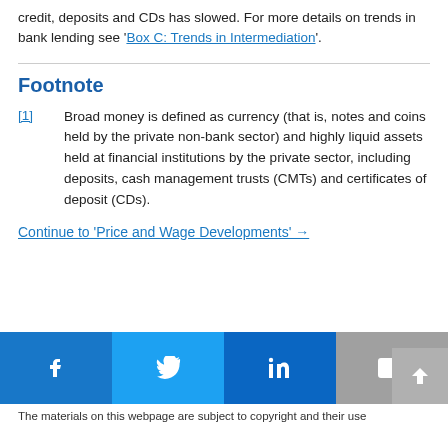credit, deposits and CDs has slowed. For more details on trends in bank lending see 'Box C: Trends in Intermediation'.
Footnote
[1] Broad money is defined as currency (that is, notes and coins held by the private non-bank sector) and highly liquid assets held at financial institutions by the private sector, including deposits, cash management trusts (CMTs) and certificates of deposit (CDs).
Continue to 'Price and Wage Developments' →
[Figure (other): Social media share bar with Facebook, Twitter, LinkedIn, email icons and scroll-to-top button]
The materials on this webpage are subject to copyright and their use